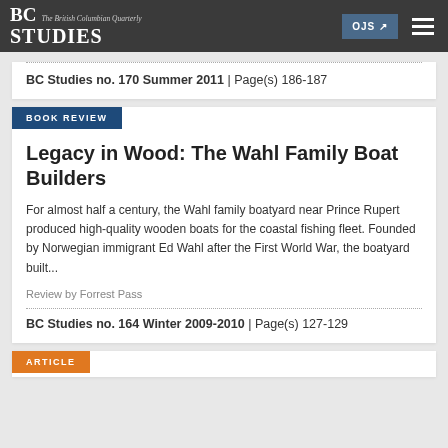BC STUDIES — The British Columbian Quarterly
BC Studies no. 170 Summer 2011 | Page(s) 186-187
BOOK REVIEW
Legacy in Wood: The Wahl Family Boat Builders
For almost half a century, the Wahl family boatyard near Prince Rupert produced high-quality wooden boats for the coastal fishing fleet. Founded by Norwegian immigrant Ed Wahl after the First World War, the boatyard built...
Review by Forrest Pass
BC Studies no. 164 Winter 2009-2010 | Page(s) 127-129
ARTICLE